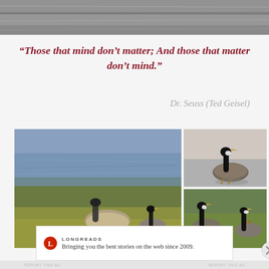[Figure (photo): Top partial photo of water/river with grey-blue tones, cropped at top of page]
“Those that mind don’t matter; And those that matter don’t mind.”
Dr. Seuss (Ted Geisel)
[Figure (photo): Collage of three photos of Canada geese: left large photo shows two geese on grassy area near water; top right shows single goose on pavement; bottom right shows two geese grazing on grass with fallen leaves]
Advertisements
[Figure (logo): Longreads logo: red circle with L, followed by LONGREADS text]
Bringing you the best stories on the web since 2009.